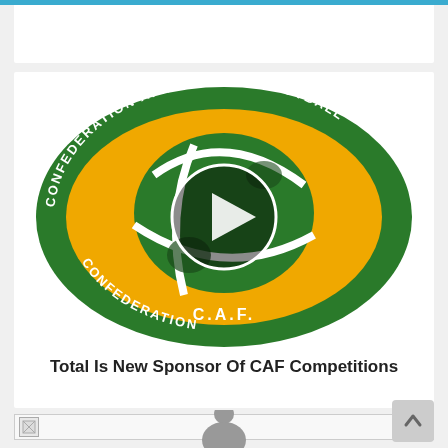[Figure (logo): CAF (Confederation Africaine de Football) logo - circular green badge with gold/orange football globe in center, text reading CONFEDERATION AFRICAINE DE FOOTBALL and C.A.F. around the border, with a play button overlay circle]
Total Is New Sponsor Of CAF Competitions
[Figure (photo): Broken image placeholder at bottom of page]
[Figure (other): Partially visible person silhouette icon at very bottom center]